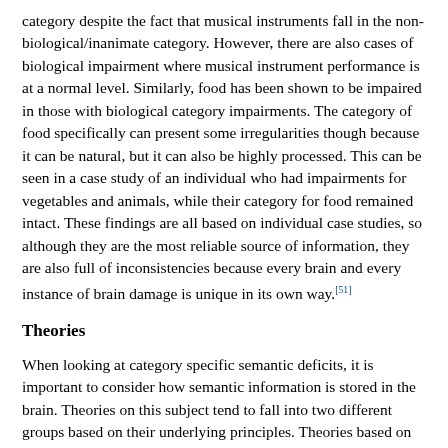category despite the fact that musical instruments fall in the non-biological/inanimate category. However, there are also cases of biological impairment where musical instrument performance is at a normal level. Similarly, food has been shown to be impaired in those with biological category impairments. The category of food specifically can present some irregularities though because it can be natural, but it can also be highly processed. This can be seen in a case study of an individual who had impairments for vegetables and animals, while their category for food remained intact. These findings are all based on individual case studies, so although they are the most reliable source of information, they are also full of inconsistencies because every brain and every instance of brain damage is unique in its own way.[51]
Theories
When looking at category specific semantic deficits, it is important to consider how semantic information is stored in the brain. Theories on this subject tend to fall into two different groups based on their underlying principles. Theories based on the "correlated structure principle", which states that conceptual knowledge organization in the brain is a reflection of how often an object's properties occur, assume that the brain reflects the statistical relation of object properties and how they relate to each other. They also base the "correlated structure principle" which has